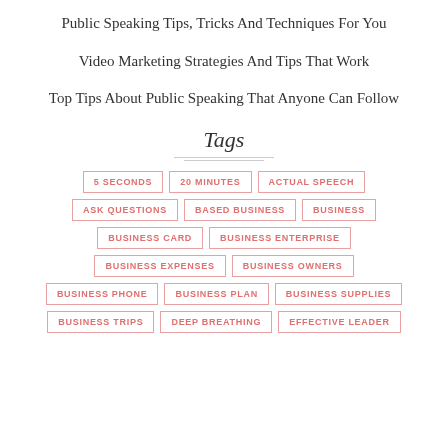Public Speaking Tips, Tricks And Techniques For You
Video Marketing Strategies And Tips That Work
Top Tips About Public Speaking That Anyone Can Follow
Tags
5 SECONDS
20 MINUTES
ACTUAL SPEECH
ASK QUESTIONS
BASED BUSINESS
BUSINESS
BUSINESS CARD
BUSINESS ENTERPRISE
BUSINESS EXPENSES
BUSINESS OWNERS
BUSINESS PHONE
BUSINESS PLAN
BUSINESS SUPPLIES
BUSINESS TRIPS
DEEP BREATHING
EFFECTIVE LEADER